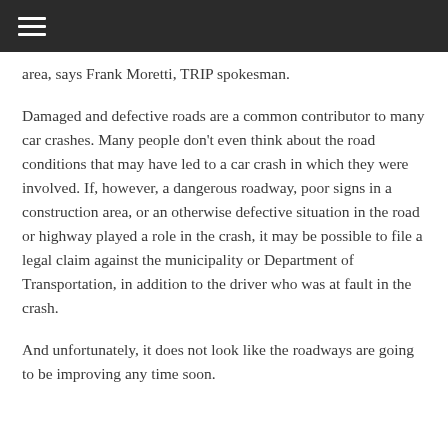≡
area, says Frank Moretti, TRIP spokesman.
Damaged and defective roads are a common contributor to many car crashes. Many people don't even think about the road conditions that may have led to a car crash in which they were involved. If, however, a dangerous roadway, poor signs in a construction area, or an otherwise defective situation in the road or highway played a role in the crash, it may be possible to file a legal claim against the municipality or Department of Transportation, in addition to the driver who was at fault in the crash.
And unfortunately, it does not look like the roadways are going to be improving any time soon.